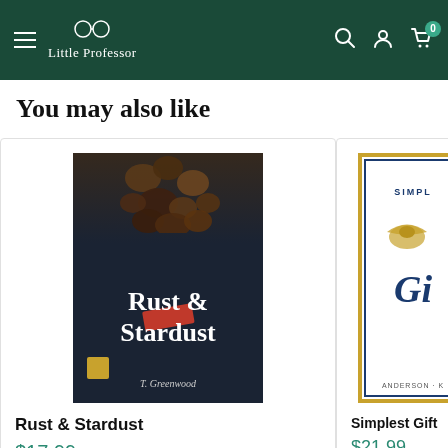Little Professor
You may also like
[Figure (photo): Book cover: Rust & Stardust by T. Greenwood — dark navy background with chocolates/nuts on top and a red ribbon, small gold badge at bottom left]
Rust & Stardust
$17.99
[Figure (photo): Book cover: Simplest Gift — white background with gold border and blue inner border, decorative eagle illustration, large italic 'Gift' text in blue]
Simplest Gift
$21.99